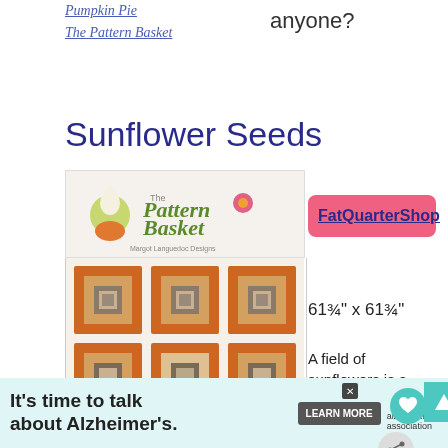Pumpkin Pie
The Pattern Basket
anyone?
Sunflower Seeds
[Figure (photo): Quilt pattern book cover and quilt photo showing The Pattern Basket by Margot Languedoc Designs, featuring sunflower quilt blocks in orange, tan and white. Shows '11½" Blocks' caption.]
FatQuarterShop
61¾" x 61¾"
A field of sunflowers is a beautiful thi
Bring one into your home with 'Sunflower
It's time to talk about Alzheimer's.